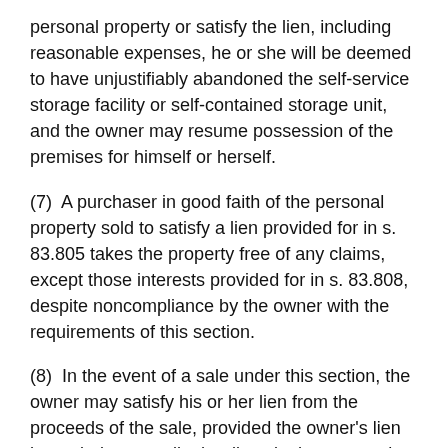personal property or satisfy the lien, including reasonable expenses, he or she will be deemed to have unjustifiably abandoned the self-service storage facility or self-contained storage unit, and the owner may resume possession of the premises for himself or herself.
(7)  A purchaser in good faith of the personal property sold to satisfy a lien provided for in s. 83.805 takes the property free of any claims, except those interests provided for in s. 83.808, despite noncompliance by the owner with the requirements of this section.
(8)  In the event of a sale under this section, the owner may satisfy his or her lien from the proceeds of the sale, provided the owner's lien has priority over all other liens in the personal property. The lien rights of secured lienholders are automatically transferred to the remaining